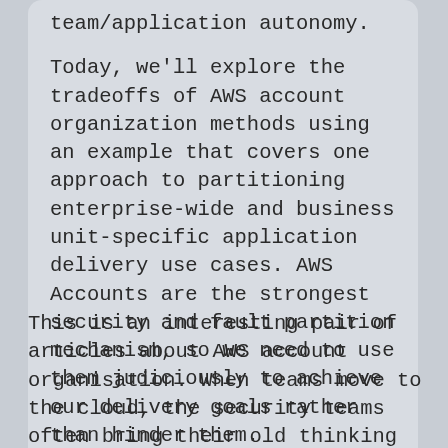team/application autonomy.
Today, we'll explore the tradeoffs of AWS account organization methods using an example that covers one approach to partitioning enterprise-wide and business unit-specific application delivery use cases. AWS Accounts are the strongest security and fault partition mechanism, so we need to use them judiciously to achieve our delivery goals rather than hinder them.
This is an interesting pair of articles about AWS account organisation. When teams move to the cloud, the security teams often bring their old thinking with them, and spend a lot of time and energy worrying about the networks...